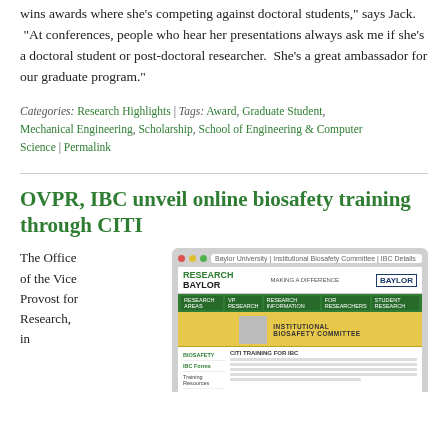wins awards where she's competing against doctoral students," says Jack. "At conferences, people who hear her presentations always ask me if she's a doctoral student or post-doctoral researcher. She's a great ambassador for our graduate program."
Categories: Research Highlights | Tags: Award, Graduate Student, Mechanical Engineering, Scholarship, School of Engineering & Computer Science | Permalink
OVPR, IBC unveil online biosafety training through CITI
The Office of the Vice Provost for Research, in
[Figure (screenshot): Screenshot of a Baylor University Institutional Biosafety Committee (IBC) website page showing the Research Baylor website with navigation, IBC banner, and content about biosafety training for IBC.]